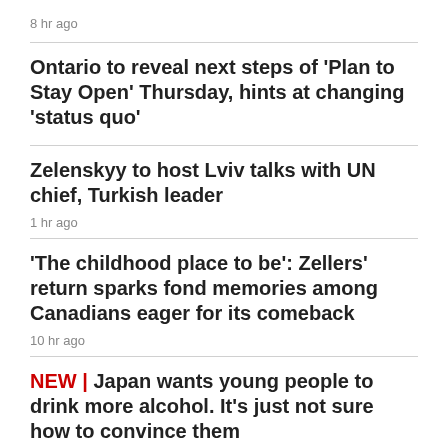8 hr ago
Ontario to reveal next steps of 'Plan to Stay Open' Thursday, hints at changing 'status quo'
Zelenskyy to host Lviv talks with UN chief, Turkish leader
1 hr ago
'The childhood place to be': Zellers' return sparks fond memories among Canadians eager for its comeback
10 hr ago
NEW | Japan wants young people to drink more alcohol. It's just not sure how to convince them
4 min ago